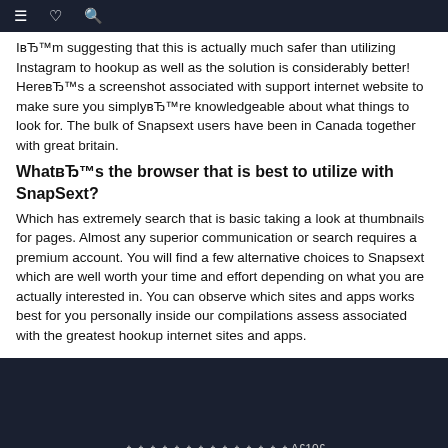Iвђ™m suggesting that this is actually much safer than utilizing Instagram to hookup as well as the solution is considerably better! HereвЂ™s a screenshot associated with support internet website to make sure you simplyвЂ™re knowledgeable about what things to look for. The bulk of Snapsext users have been in Canada together with great britain.
WhatвЂ™s the browser that is best to utilize with SnapSext?
Which has extremely search that is basic taking a look at thumbnails for pages. Almost any superior communication or search requires a premium account. You will find a few alternative choices to Snapsext which are well worth your time and effort depending on what you are actually interested in. You can observe which sites and apps works best for you personally inside our compilations assess associated with the greatest hookup internet sites and apps.
￠￠￠￠￠￠￠￠￠￠￠￠￠￠AЈ10Ј